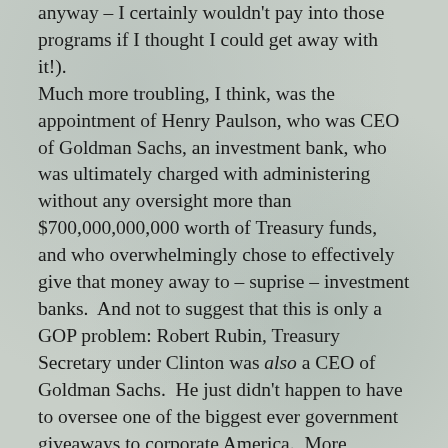anyway – I certainly wouldn't pay into those programs if I thought I could get away with it!).
Much more troubling, I think, was the appointment of Henry Paulson, who was CEO of Goldman Sachs, an investment bank, who was ultimately charged with administering without any oversight more than $700,000,000,000 worth of Treasury funds, and who overwhelmingly chose to effectively give that money away to – suprise – investment banks.  And not to suggest that this is only a GOP problem: Robert Rubin, Treasury Secretary under Clinton was also a CEO of Goldman Sachs.  He just didn't happen to have to oversee one of the biggest ever government giveaways to corporate America.  More troubling still is the apparently continuing assumption that the only way we can solve our financial mess is to encourage more debt, and more material consumption, in an ever increasing